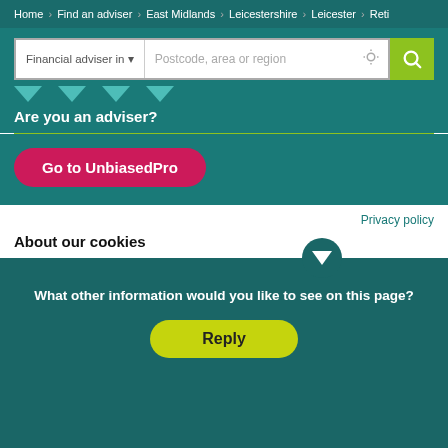Home > Find an adviser > East Midlands > Leicestershire > Leicester > Reti
[Figure (screenshot): Search bar with 'Financial adviser in' dropdown and 'Postcode, area or region' placeholder text, with a green search button]
Are you an adviser?
[Figure (other): Red/pink rounded button: Go to UnbiasedPro]
Privacy policy
About our cookies
To help provide you with the best experience on our website, we use cookies to show personalised content, improve our website and measure visitor data. By clicking on or navigating the site, you agree to allow us to collect information through cookies. You can learn more by checking our cookie policy.
[Figure (other): Teal overlay popup with text 'What other information would you like to see on this page?' and a yellow-green Reply button]